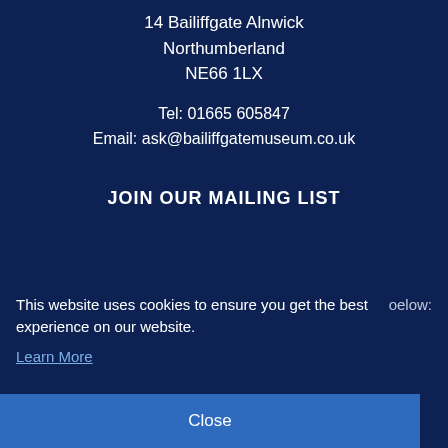14 Bailiffgate Alnwick
Northumberland
NE66 1LX
Tel: 01665 605847
Email: ask@bailiffgatemuseum.co.uk
JOIN OUR MAILING LIST
This website uses cookies to ensure you get the best experience on our website.
below:
Learn More
Close